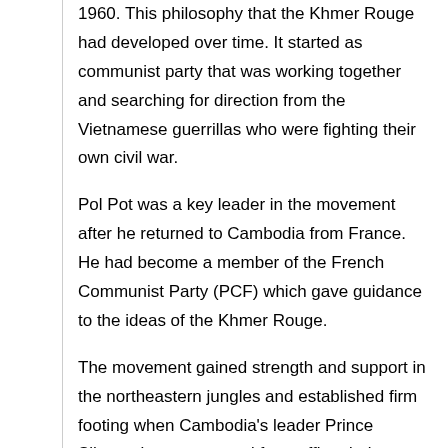1960. This philosophy that the Khmer Rouge had developed over time. It started as communist party that was working together and searching for direction from the Vietnamese guerrillas who were fighting their own civil war.
Pol Pot was a key leader in the movement after he returned to Cambodia from France. He had become a member of the French Communist Party (PCF) which gave guidance to the ideas of the Khmer Rouge.
The movement gained strength and support in the northeastern jungles and established firm footing when Cambodia's leader Prince Sihanouk was removed from office during a military coup in 1970.